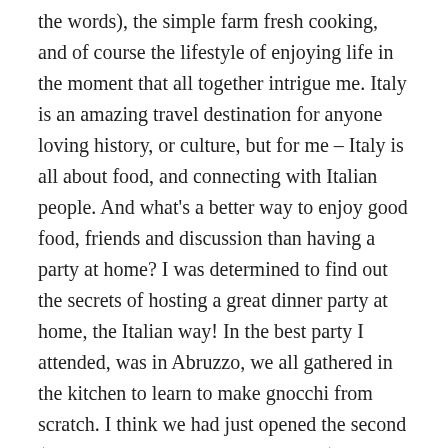the words), the simple farm fresh cooking, and of course the lifestyle of enjoying life in the moment that all together intrigue me. Italy is an amazing travel destination for anyone loving history, or culture, but for me – Italy is all about food, and connecting with Italian people. And what's a better way to enjoy good food, friends and discussion than having a party at home? I was determined to find out the secrets of hosting a great dinner party at home, the Italian way! In the best party I attended, was in Abruzzo, we all gathered in the kitchen to learn to make gnocchi from scratch. I think we had just opened the second (or the third, but who was counting?) wine bottle, and the kitchen was getting pretty hot from over 15 people packed in, so we opened the window. A few minutes later, a three-man-band showed up and started playing Italian music right behind the kitchen window! The kitchen went absolutely wild! The band moved into the kitchen, we all started dancing